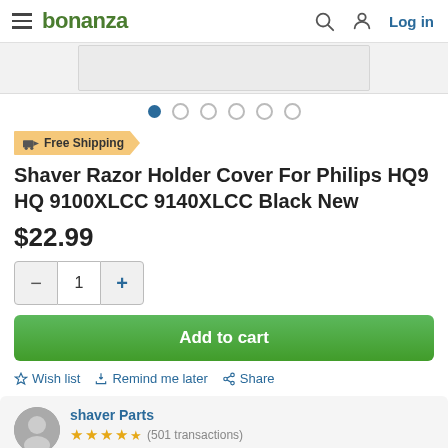bonanza  Log in
[Figure (photo): Product image strip showing partial view of product, with navigation dots below]
Free Shipping
Shaver Razor Holder Cover For Philips HQ9 HQ 9100XLCC 9140XLCC Black New
$22.99
– 1 +
Add to cart
☆ Wish list  Remind me later  Share
shaver Parts
(501 transactions)